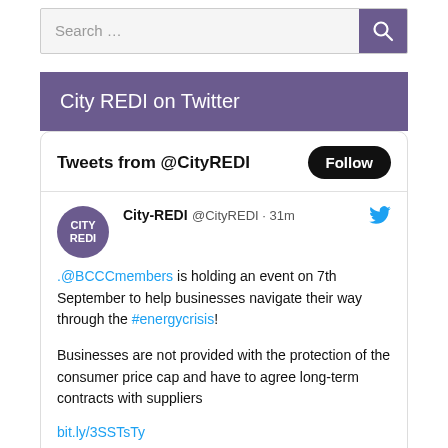Search …
City REDI on Twitter
Tweets from @CityREDI
City-REDI @CityREDI · 31m .@BCCCmembers is holding an event on 7th September to help businesses navigate their way through the #energycrisis! Businesses are not provided with the protection of the consumer price cap and have to agree long-term contracts with suppliers bit.ly/3SSTsTy